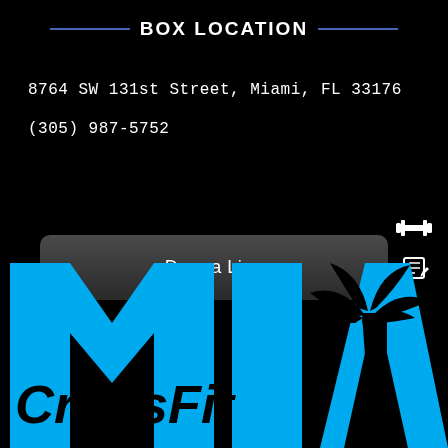BOX LOCATION
8764 SW 131st Street, Miami, FL 33176
(305) 987-5752
Drop a Line
[Figure (logo): CrossFit MIA logo with large cyan block letters M I A and 'CrossFit' text overlaid, with a palm tree silhouette on black background]